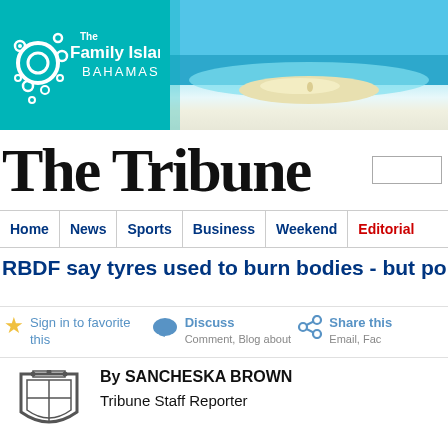[Figure (photo): The Family Islands Bahamas tourism banner with teal background on left showing logo with text 'The Family Islands BAHAMAS' and aerial beach/ocean photo on right]
The Tribune
Home | News | Sports | Business | Weekend | Editorial
RBDF say tyres used to burn bodies - but police
Sign in to favorite this
Discuss
Comment, Blog about
Share this
Email, Fac
[Figure (logo): Tribune newspaper shield/crest logo]
By SANCHESKA BROWN
Tribune Staff Reporter